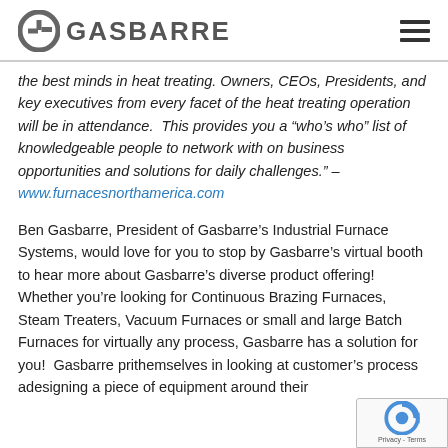GASBARRE
the best minds in heat treating. Owners, CEOs, Presidents, and key executives from every facet of the heat treating operation will be in attendance.  This provides you a “who’s who” list of knowledgeable people to network with on business opportunities and solutions for daily challenges.” – www.furnacesnorthamerica.com
Ben Gasbarre, President of Gasbarre’s Industrial Furnace Systems, would love for you to stop by Gasbarre’s virtual booth to hear more about Gasbarre’s diverse product offering! Whether you’re looking for Continuous Brazing Furnaces, Steam Treaters, Vacuum Furnaces or small and large Batch Furnaces for virtually any process, Gasbarre has a solution for you!  Gasbarre pride themselves in looking at customer’s process and designing a piece of equipment around their